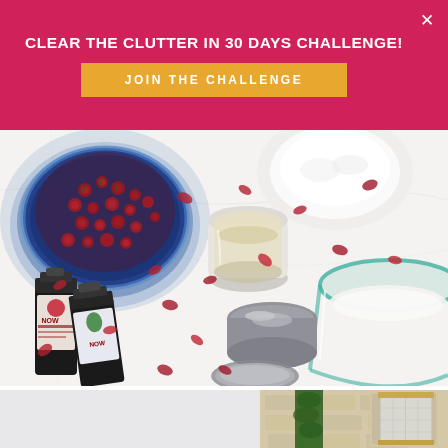[Figure (infographic): Pink/crimson banner with text 'CLEAR THE CLUTTER IN 30 DAYS CHALLENGE!' and an orange 'JOIN THE CHALLENGE' button, with a white X close button in the top right corner.]
[Figure (photo): Overhead flat-lay photo of DIY beauty ingredients on a white marble surface: a blue bowl filled with red rose buds, a small cup with clear liquid, a white sugar/salt mound, a large glass mixing bowl, two NOW brand essential oil bottles lying on their side, a small metal tin with lid, and scattered red rose petals.]
[Figure (photo): Partial photo of a stone French-style building with white shuttered window and a tall green cypress/ivy tree growing against it, light sky background.]